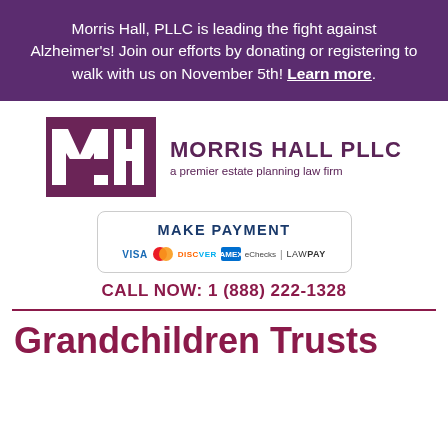Morris Hall, PLLC is leading the fight against Alzheimer's! Join our efforts by donating or registering to walk with us on November 5th! Learn more.
[Figure (logo): Morris Hall PLLC logo with MH monogram and text 'a premier estate planning law firm']
[Figure (other): Make Payment box with payment icons: VISA, Mastercard, Discover, American Express, eChecks, LawPay]
CALL NOW: 1 (888) 222-1328
Grandchildren Trusts